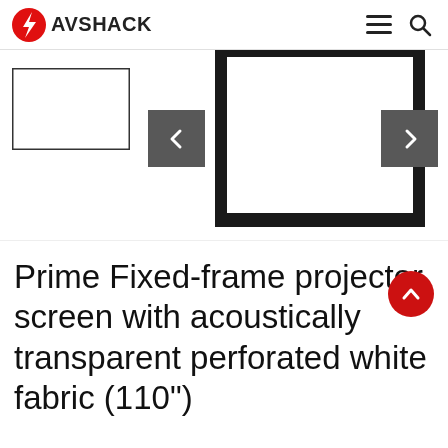AVSHACK
[Figure (screenshot): AV Shack website header with logo (lightning bolt icon + AVSHACK text), hamburger menu icon, and search icon]
[Figure (screenshot): Product image gallery showing a fixed-frame projector screen with black border. Thumbnail on left, main large image in center, left navigation arrow button (dark grey), right navigation arrow button (dark grey).]
Prime Fixed-frame projector screen with acoustically transparent perforated white fabric (110")